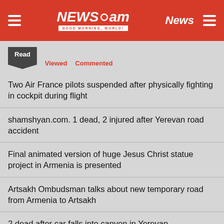NEWS.am — News
Read   Viewed   Commented
Two Air France pilots suspended after physically fighting in cockpit during flight
shamshyan.com. 1 dead, 2 injured after Yerevan road accident
Final animated version of huge Jesus Christ statue project in Armenia is presented
Artsakh Ombudsman talks about new temporary road from Armenia to Artsakh
2 dead after car falls into canyon in Yerevan